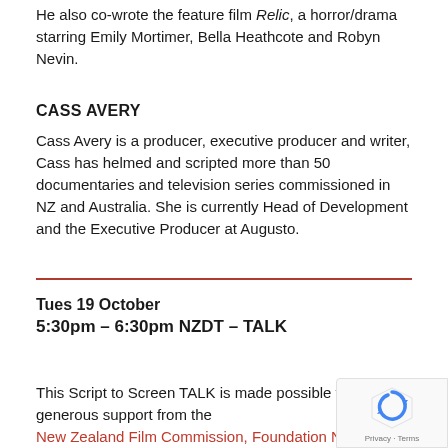He also co-wrote the feature film Relic, a horror/drama starring Emily Mortimer, Bella Heathcote and Robyn Nevin.
CASS AVERY
Cass Avery is a producer, executive producer and writer, Cass has helmed and scripted more than 50 documentaries and television series commissioned in NZ and Australia. She is currently Head of Development and the Executive Producer at Augusto.
Tues 19 October
5:30pm – 6:30pm NZDT – TALK
This Script to Screen TALK is made possible thanks to generous support from the New Zealand Film Commission, Foundation North and Images & Sound.